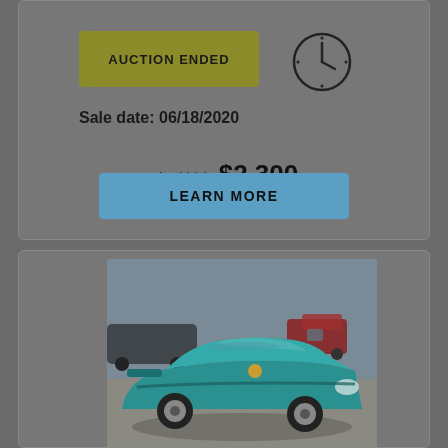AUCTION ENDED
Sale date: 06/18/2020
Final bid:  $2,300
LEARN MORE
[Figure (photo): Teal/turquoise sports car (appears to be a Datsun/Nissan 280ZX) photographed in a parking lot with other vehicles in the background]